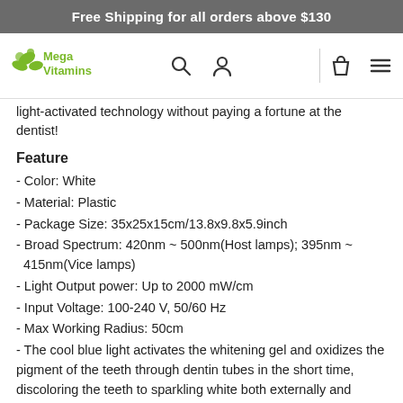Free Shipping for all orders above $130
[Figure (logo): Mega Vitamins logo with green leaf icons and green text]
light-activated technology without paying a fortune at the dentist!
Feature
- Color: White
- Material: Plastic
- Package Size: 35x25x15cm/13.8x9.8x5.9inch
- Broad Spectrum: 420nm ~ 500nm(Host lamps); 395nm ~ 415nm(Vice lamps)
- Light Output power: Up to 2000 mW/cm
- Input Voltage: 100-240 V, 50/60 Hz
- Max Working Radius: 50cm
- The cool blue light activates the whitening gel and oxidizes the pigment of the teeth through dentin tubes in the short time, discoloring the teeth to sparkling white both externally and internally.
- High efficiency goose pipe design, you can adjust angle randomly